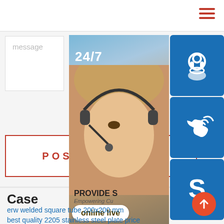Navigation menu (hamburger icon)
message
POST COMMENT
Case
erw welded square tube 200x200 mm
best quality 2205 stainless steel plate price
[Figure (infographic): Customer service widget showing a woman with headset, 24/7 label, three blue icon buttons (headset/support, phone, Skype), and an online live button at the bottom]